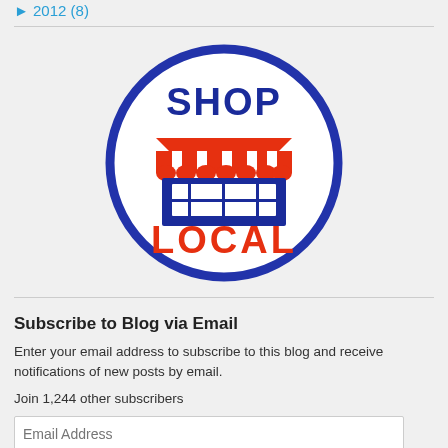► 2012 (8)
[Figure (logo): Shop Local circular logo with a storefront graphic, 'SHOP' in blue text at top, 'LOCAL' in red text at bottom, red and white striped awning, blue building structure]
Subscribe to Blog via Email
Enter your email address to subscribe to this blog and receive notifications of new posts by email.
Join 1,244 other subscribers